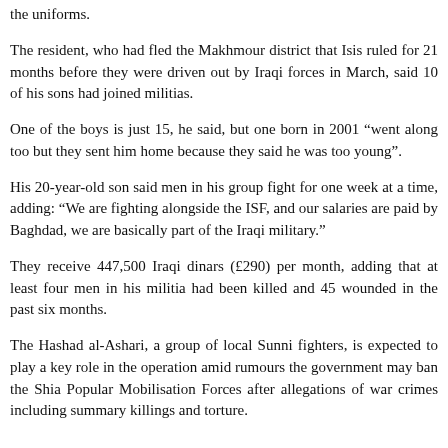the uniforms.
The resident, who had fled the Makhmour district that Isis ruled for 21 months before they were driven out by Iraqi forces in March, said 10 of his sons had joined militias.
One of the boys is just 15, he said, but one born in 2001 “went along too but they sent him home because they said he was too young”.
His 20-year-old son said men in his group fight for one week at a time, adding: “We are fighting alongside the ISF, and our salaries are paid by Baghdad, we are basically part of the Iraqi military.”
They receive 447,500 Iraqi dinars (£290) per month, adding that at least four men in his militia had been killed and 45 wounded in the past six months.
The Hashad al-Ashari, a group of local Sunni fighters, is expected to play a key role in the operation amid rumours the government may ban the Shia Popular Mobilisation Forces after allegations of war crimes including summary killings and torture.